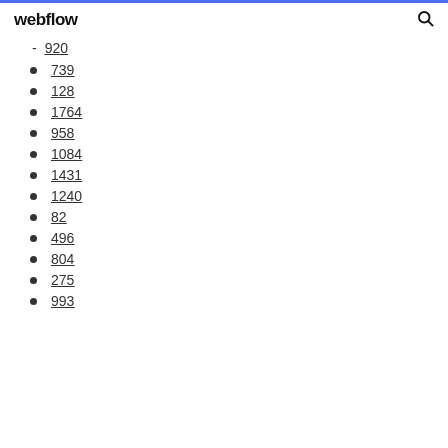webflow
920
739
128
1764
958
1084
1431
1240
82
496
804
275
993